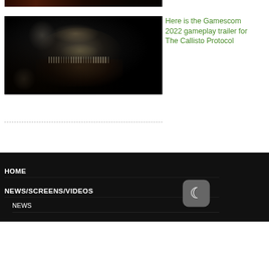[Figure (photo): Dark horror game screenshot showing a close-up of a monstrous creature with decayed, mutilated face with open jaw, pale hair and metallic/biological growths, dark background]
Here is the Gamescom 2022 gameplay trailer for The Callisto Protocol
HOME
NEWS/SCREENS/VIDEOS
NEWS